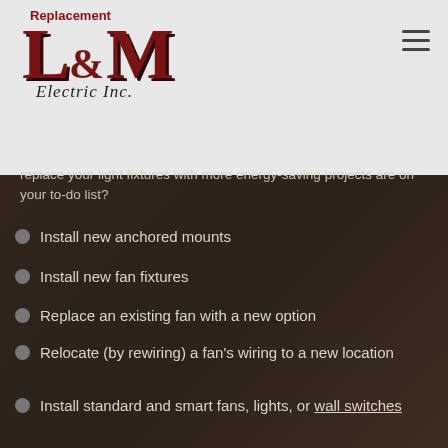Replacement
[Figure (logo): L & M Electric Inc. company logo with red serif letters on light gray background]
replace your light fixtures with more energy-saving projects are on your to-do list?
Install new anchored mounts
Install new fan fixtures
Replace an existing fan with a new option
Relocate (by rewiring) a fan's wiring to a new location
Install standard and smart fans, lights, or wall switches
Set up outdoor fans or lights on your deck or other outside area